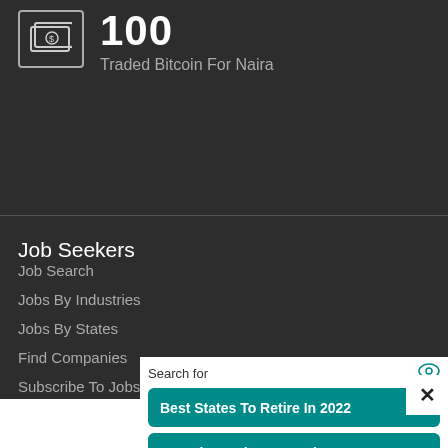100
Traded Bitcoin For Naira
Job Seekers
Job Search
Jobs By Industries
Jobs By States
Find Companies
Subscribe To Jobs Daily
Search for
Best States To Retire In 2022
Part Time Jobs For Retirees
Yahoo! Search | Sponsored